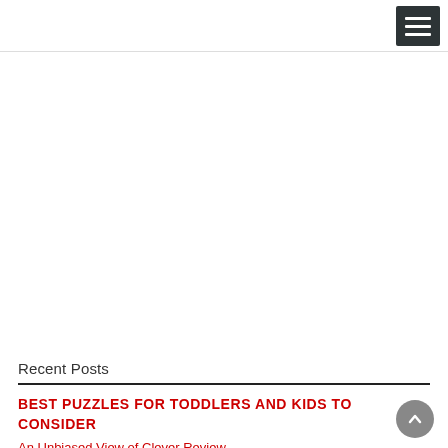[Figure (other): Advertisement / empty white area below header nav bar]
Recent Posts
BEST PUZZLES FOR TODDLERS AND KIDS TO CONSIDER
An Unbiased View of Clever Review...